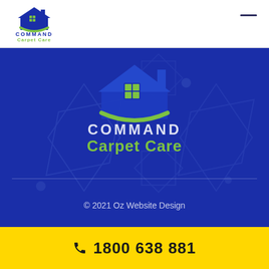[Figure (logo): Command Carpet Care logo — house icon with mountain/roof shape and green swoosh, text COMMAND in dark blue and Carpet Care in green, in the white header bar]
[Figure (logo): Command Carpet Care large centered logo on blue background — same house icon with green swoosh, COMMAND text in white/light and Carpet Care in green]
© 2021 Oz Website Design
1800 638 881